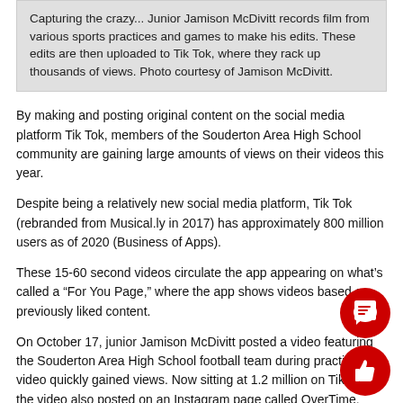Capturing the crazy... Junior Jamison McDivitt records film from various sports practices and games to make his edits. These edits are then uploaded to Tik Tok, where they rack up thousands of views. Photo courtesy of Jamison McDivitt.
By making and posting original content on the social media platform Tik Tok, members of the Souderton Area High School community are gaining large amounts of views on their videos this year.
Despite being a relatively new social media platform, Tik Tok (rebranded from Musical.ly in 2017) has approximately 800 million users as of 2020 (Business of Apps).
These 15-60 second videos circulate the app appearing on what’s called a “For You Page,” where the app shows videos based on previously liked content.
On October 17, junior Jamison McDivitt posted a video featuring the Souderton Area High School football team during practice. The video quickly gained views. Now sitting at 1.2 million on Tik Tok, the video also posted on an Instagram page called OverTime.